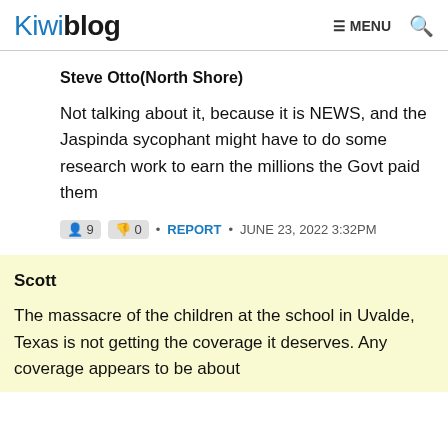Kiwiblog ☰ MENU 🔍
Steve Otto(North Shore)
Not talking about it, because it is NEWS, and the Jaspinda sycophant might have to do some research work to earn the millions the Govt paid them
9  0  •  REPORT  •  JUNE 23, 2022 3:32PM
Scott
The massacre of the children at the school in Uvalde, Texas is not getting the coverage it deserves. Any coverage appears to be about